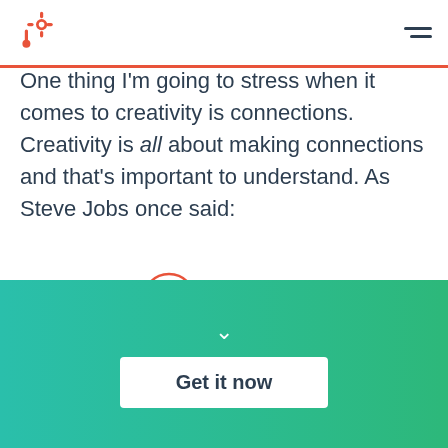HubSpot logo and navigation menu
One thing I'm going to stress when it comes to creativity is connections. Creativity is all about making connections and that's important to understand. As Steve Jobs once said:
[Figure (illustration): Three orange circles of varying sizes arranged horizontally, representing a decorative element]
Creativity is just connecting things. When you ask creative people how they did...